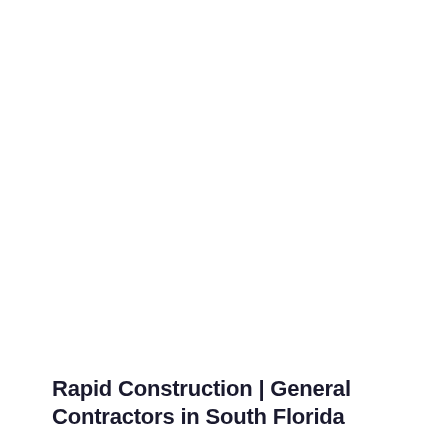Rapid Construction | General Contractors in South Florida